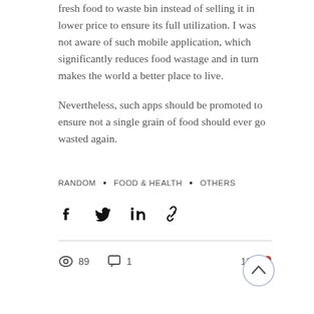fresh food to waste bin instead of selling it in lower price to ensure its full utilization. I was not aware of such mobile application, which significantly reduces food wastage and in turn makes the world a better place to live.
Nevertheless, such apps should be promoted to ensure not a single grain of food should ever go wasted again.
RANDOM • FOOD & HEALTH • OTHERS
[Figure (other): Social share icons: Facebook, Twitter, LinkedIn, Link]
[Figure (other): Stats bar: 89 views, 1 comment, 10 likes. Scroll-to-top button (chevron up in circle).]